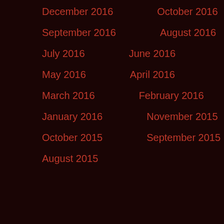December 2016
October 2016
September 2016
August 2016
July 2016
June 2016
May 2016
April 2016
March 2016
February 2016
January 2016
November 2015
October 2015
September 2015
August 2015